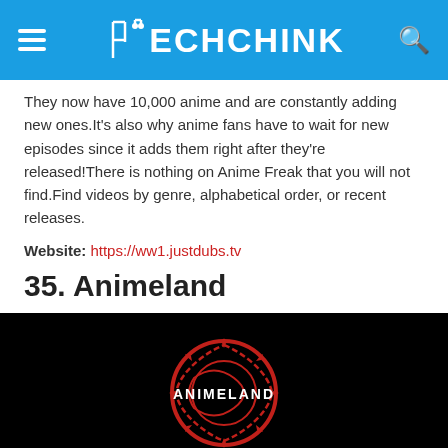TECHCHINK
They now have 10,000 anime and are constantly adding new ones.It's also why anime fans have to wait for new episodes since it adds them right after they're released!There is nothing on Anime Freak that you will not find.Find videos by genre, alphabetical order, or recent releases.
Website: https://ww1.justdubs.tv
35. Animeland
[Figure (logo): Animeland logo on black background — red circular dragon/serpent emblem with the word ANIMELAND in white text in the center]